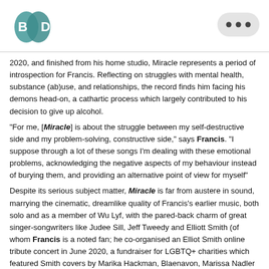[Figure (logo): BD logo with two overlapping teardrop/circle shapes in teal, letters B and D]
[Figure (other): Three dots menu button in a rounded grey speech-bubble shape]
2020, and finished from his home studio, Miracle represents a period of introspection for Francis. Reflecting on struggles with mental health, substance (ab)use, and relationships, the record finds him facing his demons head-on, a cathartic process which largely contributed to his decision to give up alcohol.
"For me, [Miracle] is about the struggle between my self-destructive side and my problem-solving, constructive side," says Francis. "I suppose through a lot of these songs I'm dealing with these emotional problems, acknowledging the negative aspects of my behaviour instead of burying them, and providing an alternative point of view for myself"
Despite its serious subject matter, Miracle is far from austere in sound, marrying the cinematic, dreamlike quality of Francis's earlier music, both solo and as a member of Wu Lyf, with the pared-back charm of great singer-songwriters like Judee Sill, Jeff Tweedy and Elliott Smith (of whom Francis is a noted fan; he co-organised an Elliot Smith online tribute concert in June 2020, a fundraiser for LGBTQ+ charities which featured Smith covers by Marika Hackman, Blaenavon, Marissa Nadler and others). A series of musical